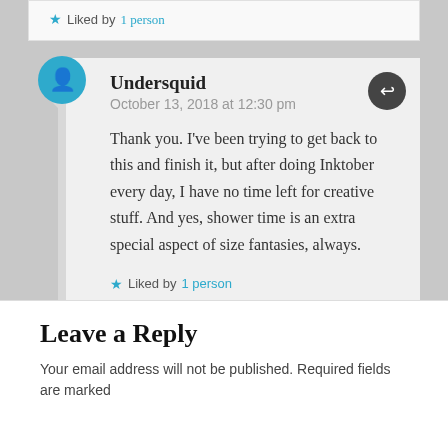★ Liked by 1 person
Undersquid
October 13, 2018 at 12:30 pm
Thank you. I've been trying to get back to this and finish it, but after doing Inktober every day, I have no time left for creative stuff. And yes, shower time is an extra special aspect of size fantasies, always.
★ Liked by 1 person
Leave a Reply
Your email address will not be published. Required fields are marked